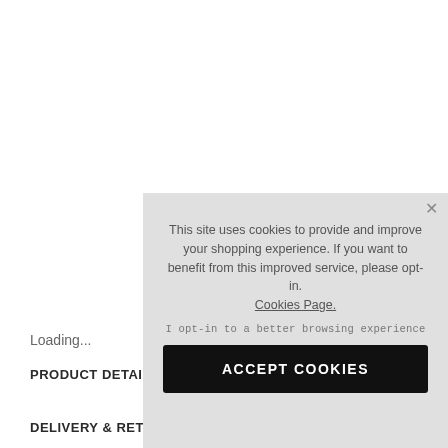Wo
Loading...
PRODUCT DETAI
DELIVERY & RETURNS
This site uses cookies to provide and improve your shopping experience. If you want to benefit from this improved service, please opt-in. Cookies Page.
I opt-in to a better browsing experience
ACCEPT COOKIES